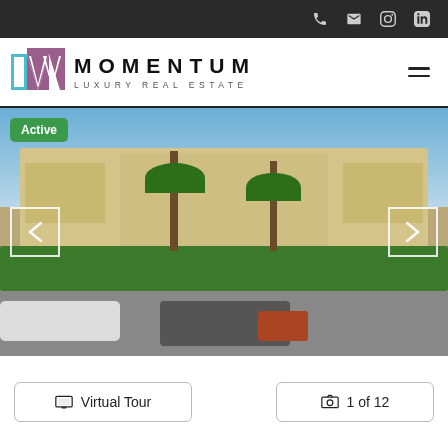Momentum Luxury Real Estate — navigation bar with phone, email, Instagram, LinkedIn icons
[Figure (logo): Momentum Luxury Real Estate logo with stylized 'm' icon in teal and purple, and bold text MOMENTUM / LUXURY REAL ESTATE]
[Figure (photo): Exterior photo of a two-story Art Deco style apartment building with cream/yellow stucco, palm trees, green hedges, blue sky with clouds. Cars and a motorcycle parked in front.]
Active
Virtual Tour
1 of 12